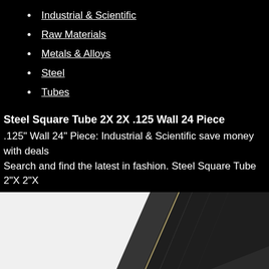Industrial & Scientific
Raw Materials
Metals & Alloys
Steel
Tubes
Steel Square Tube 2X 2X .125 Wall 24 Piece
.125" Wall 24" Piece: Industrial & Scientific save money with deals Search and find the latest in fashion. Steel Square Tube 2"X 2"X
[Figure (photo): Close-up photo of a steel square tube showing dark metallic surface texture with a diagonal orientation, white background visible on the left side.]